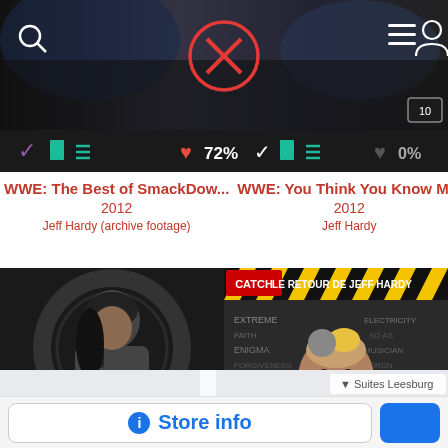[Figure (screenshot): Website header with dark background, red circular logo with X in center, search icon left, hamburger menu and user icon right, page number badge bottom right]
[Figure (screenshot): Toolbar row with purple checkmark, teal book icon, teal list icon on left; red heart, 72%, white checkmark, teal book, teal list in center; gray heart, 0% on right]
WWE: The Best of SmackDow...
2012
Jeff Hardy (archive footage)
WWE: You Think You Know M...
2012
Jeff Hardy
[Figure (photo): Dark photo of wrestler Jeff Hardy with long dark hair looking serious, dark gear background]
[Figure (photo): French wrestling poster with yellow/black caution tape style header reading LE RETOUR DE JEFF HARDY, with word cloud background and Jeff Hardy close-up]
[Figure (map): Google Maps view showing Leesburg Premium Outlets with red location pin, roads and area around Leesburg, Virginia; Suites Leesburg label visible]
Store info